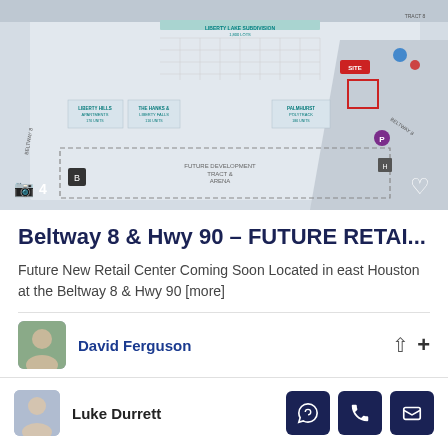[Figure (map): Aerial/schematic site map showing Beltway 8 & Hwy 90 intersection with future retail development tract, Liberty Lake Subdivision, Liberty Hills Apartments, and surrounding parcels. A red marker indicates the site.]
Beltway 8 & Hwy 90 – FUTURE RETAI...
Future New Retail Center Coming Soon Located in east Houston at the Beltway 8 & Hwy 90 [more]
David Ferguson
Luke Durrett